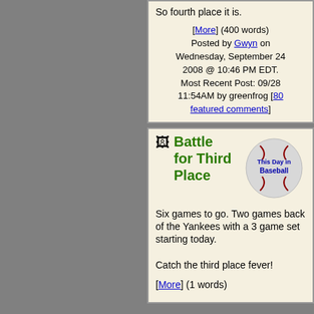So fourth place it is.
[More] (400 words)
Posted by Gwyn on Wednesday, September 24 2008 @ 10:46 PM EDT.
Most Recent Post: 09/28 11:54AM by greenfrog [80 featured comments]
Battle for Third Place
Six games to go.  Two games back of the Yankees with a 3 game set starting today.

Catch the third place fever!
[More] (1 words)